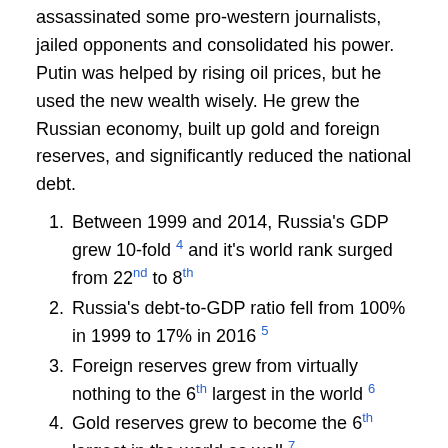assassinated some pro-western journalists, jailed opponents and consolidated his power. Putin was helped by rising oil prices, but he used the new wealth wisely. He grew the Russian economy, built up gold and foreign reserves, and significantly reduced the national debt.
Between 1999 and 2014, Russia's GDP grew 10-fold [4] and it's world rank surged from 22nd to 8th
Russia's debt-to-GDP ratio fell from 100% in 1999 to 17% in 2016 [5]
Foreign reserves grew from virtually nothing to the 6th largest in the world [6]
Gold reserves grew to become the 6th largest in the world as well [7]
Putin started RT – Russia's own global news channel, banned GMO, kicked out George Soros, and fought